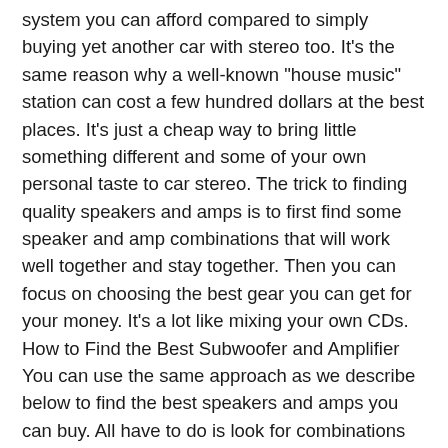system you can afford compared to simply buying yet another car with stereo too. It's the same reason why a well-known "house music" station can cost a few hundred dollars at the best places. It's just a cheap way to bring little something different and some of your own personal taste to car stereo. The trick to finding quality speakers and amps is to first find some speaker and amp combinations that will work well together and stay together. Then you can focus on choosing the best gear you can get for your money. It's a lot like mixing your own CDs. How to Find the Best Subwoofer and Amplifier You can use the same approach as we describe below to find the best speakers and amps you can buy. All have to do is look for combinations that might fit just right together. Choosing the Best Speaker Combinations Here's a quick rundown on how to find the best speaker and amplifier combo for your car. Use a speaker selector to find your ideal subwoofer and amplifier combo. This will give you the best options from brands that each offer unique features such as tweeters, drivers, amp capabilities. When buying subwoofers